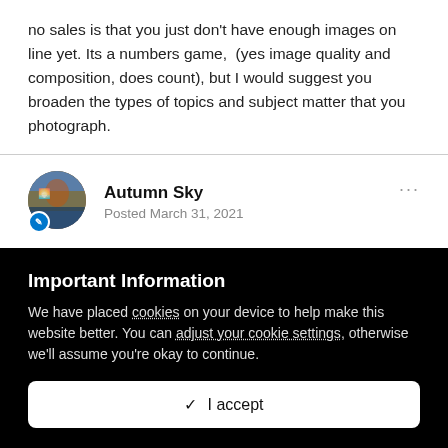no sales is that you just don't have enough images on line yet. Its a numbers game,  (yes image quality and composition, does count), but I would suggest you broaden the types of topics and subject matter that you photograph.
Autumn Sky
Posted March 31, 2021
I remember asking very same question couple of yrs ago, with similar port size.  Prob. still somewhere in Forum.   Besides the obvious explained above (diversity, quality, metadata, port size, etc)  one more
Important Information
We have placed cookies on your device to help make this website better. You can adjust your cookie settings, otherwise we'll assume you're okay to continue.
✓  I accept